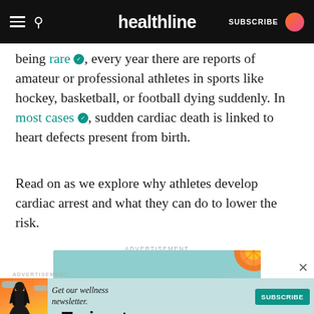healthline — SUBSCRIBE
being rare ✓, every year there are reports of amateur or professional athletes in sports like hockey, basketball, or football dying suddenly. In most cases ✓, sudden cardiac death is linked to heart defects present from birth.
Read on as we explore why athletes develop cardiac arrest and what they can do to lower the risk.
ADVERTISEMENT
[Figure (illustration): Advertisement banner with light teal/green background showing illustration of orange slice and plant/leaf. Text reads: Trying to eat healthy?]
ADVERTISEMENT
[Figure (illustration): Bottom advertisement strip with illustrated person with long dark hair on orange/red background on left side, text 'Get our wellness newsletter.' and a teal SUBSCRIBE button on right.]